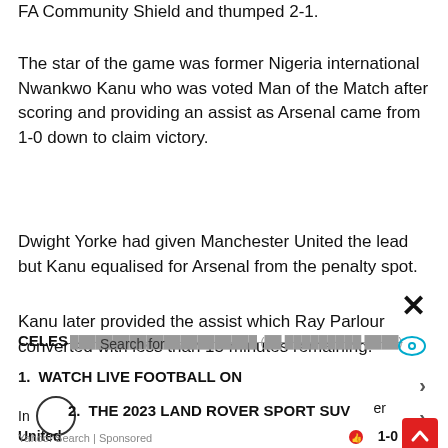FA Community Shield and thumped 2-1.
The star of the game was former Nigeria international Nwankwo Kanu who was voted Man of the Match after scoring and providing an assist as Arsenal came from 1-0 down to claim victory.
Dwight Yorke had given Manchester United the lead but Kanu equalised for Arsenal from the penalty spot.
Kanu later provided the assist which Ray Parlour converted with less than 15 minutes remaining.
CELES Search for
1. WATCH LIVE FOOTBALL ON
2. THE 2023 LAND ROVER SPORT SUV
Yahoo! Search | Sponsored